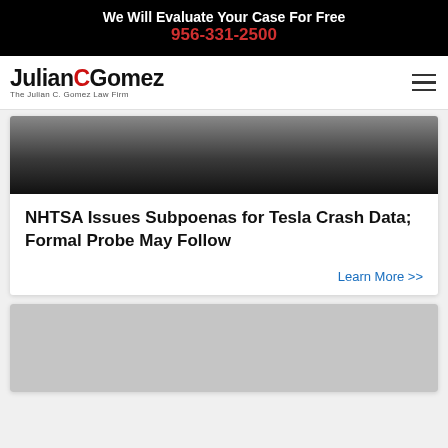We Will Evaluate Your Case For Free
956-331-2500
[Figure (logo): Julian Gomez - The Julian C. Gomez Law Firm logo]
[Figure (photo): Dark automotive/crash scene photograph]
NHTSA Issues Subpoenas for Tesla Crash Data; Formal Probe May Follow
Learn More >>